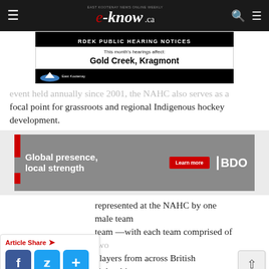e-know.ca — East Kootenay News Online Weekly
[Figure (other): RDEK Public Hearing Notices banner ad: 'This month's hearings affect: Gold Creek, Kragmont']
event held annually since 2001, the NAHC also serves as a focal point for grassroots and regional Indigenous hockey development.
[Figure (other): BDO advertisement banner: 'Global presence, local strength' with 'Learn more' button and BDO logo, featuring a woman with a bicycle.]
represented at the NAHC by one male team team —with each team comprised of two players from across British Columbia.
The Team BC programme for NAHC is operated by BC...